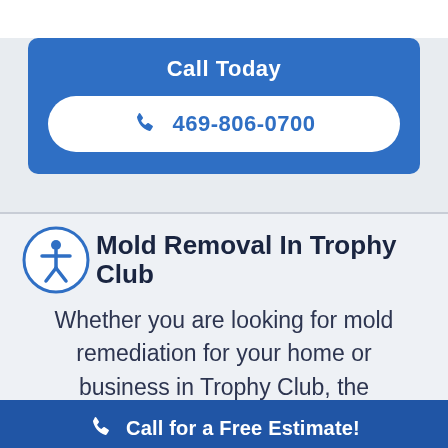Call Today
469-806-0700
Mold Removal In Trophy Club
Whether you are looking for mold remediation for your home or business in Trophy Club, the
Call for a Free Estimate!